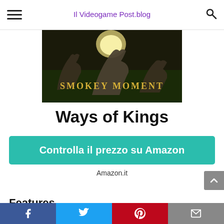Il Videogame Post.blog
[Figure (screenshot): Game banner image showing wolves howling at the moon with text 'SMOKEY MOMENT' in golden letters on dark background]
Ways of Kings
Controlla il prezzo su Amazon
Amazon.it
Features
Is Adult Product